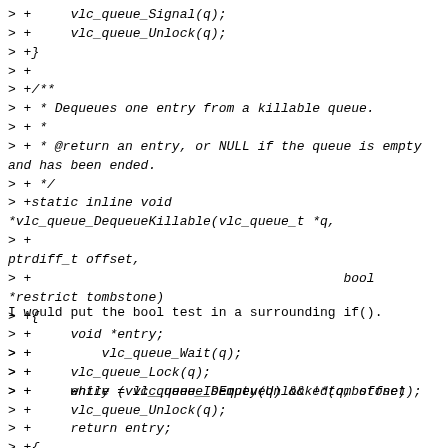> +     vlc_queue_Signal(q);
> +     vlc_queue_Unlock(q);
> +}
> +
> +/**
> + * Dequeues one entry from a killable queue.
> + *
> + * @return an entry, or NULL if the queue is empty and has been ended.
> + */
> +static inline void
*vlc_queue_DequeueKillable(vlc_queue_t *q,
> +
ptrdiff_t offset,
> +                                        bool
*restrict tombstone)
> +{
> +     void *entry;
> +
> +     vlc_queue_Lock(q);
> +     while (vlc_queue_IsEmpty(q) && !*tombstone)
I would put the bool test in a surrounding if().
> +         vlc_queue_Wait(q);
> +
> +     entry = vlc_queue_DequeueUnlocked(q, offset);
> +     vlc_queue_Unlock(q);
> +     return entry;
> +{